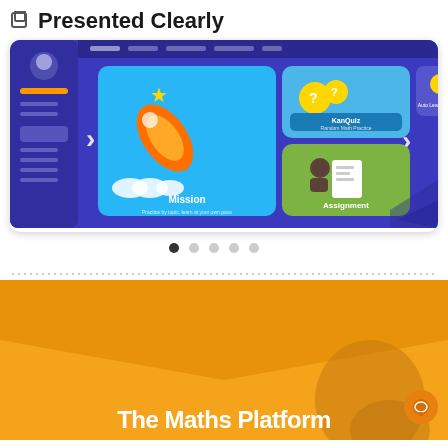Presented Clearly
[Figure (screenshot): Screenshot of an educational math platform showing a purple dashboard with Mission (rocket graphic) and Assignment panels, with navigation arrows on either side.]
[Figure (infographic): Carousel dot indicators: 5 dots, first dot is filled/active, rest are grey.]
[Figure (infographic): Dotted horizontal divider line.]
[Figure (illustration): Orange section with chevron/arrow shape pointing down and a dark circular figure silhouette on the right.]
The Maths Platform